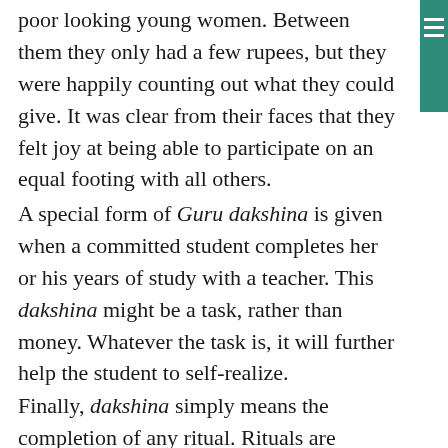poor looking young women. Between them they only had a few rupees, but they were happily counting out what they could give. It was clear from their faces that they felt joy at being able to participate on an equal footing with all others.
A special form of Guru dakshina is given when a committed student completes her or his years of study with a teacher. This dakshina might be a task, rather than money. Whatever the task is, it will further help the student to self-realize.
Finally, dakshina simply means the completion of any ritual. Rituals are